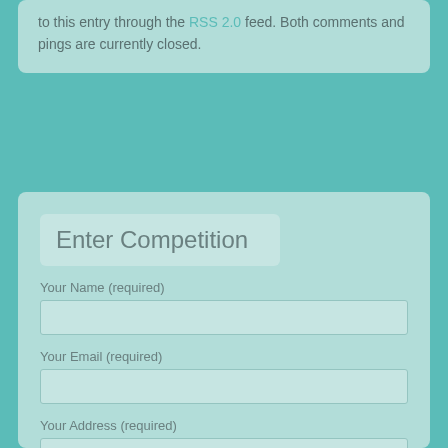to this entry through the RSS 2.0 feed. Both comments and pings are currently closed.
Enter Competition
Your Name (required)
Your Email (required)
Your Address (required)
Contact Number (required)
Competition Name